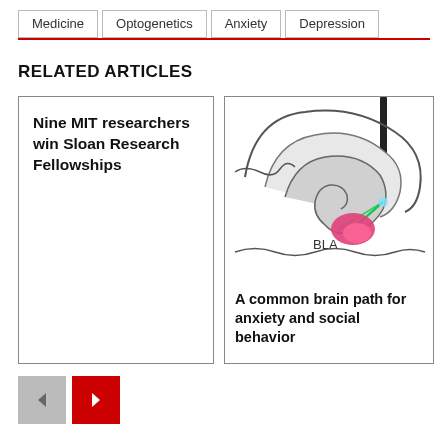Medicine  Optogenetics  Anxiety  Depression
RELATED ARTICLES
Nine MIT researchers win Sloan Research Fellowships
[Figure (illustration): Scientific illustration of a brain cross-section showing BLA region with green light fibers and pink highlighted area, with a probe/electrode inserted from top]
A common brain path for anxiety and social behavior